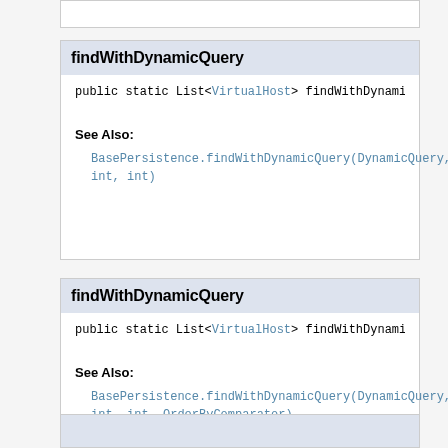findWithDynamicQuery
public static List<VirtualHost> findWithDynamicQuery(
See Also:
BasePersistence.findWithDynamicQuery(DynamicQuery, int, int)
findWithDynamicQuery
public static List<VirtualHost> findWithDynamicQuery(
See Also:
BasePersistence.findWithDynamicQuery(DynamicQuery, int, int, OrderByComparator)